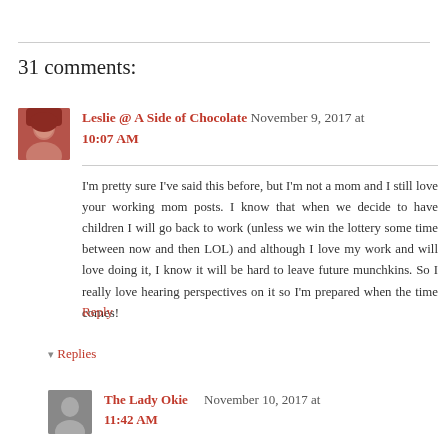31 comments:
Leslie @ A Side of Chocolate  November 9, 2017 at 10:07 AM
I'm pretty sure I've said this before, but I'm not a mom and I still love your working mom posts. I know that when we decide to have children I will go back to work (unless we win the lottery some time between now and then LOL) and although I love my work and will love doing it, I know it will be hard to leave future munchkins. So I really love hearing perspectives on it so I'm prepared when the time comes!
Reply
▾ Replies
The Lady Okie  November 10, 2017 at 11:42 AM